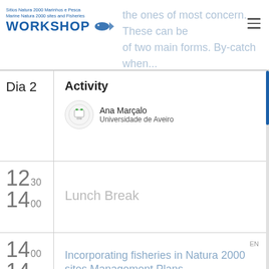Sítios Natura 2000 Marinhos e Pesca | Marine Natura 2000 sites and Fisheries WORKSHOP — the ones of most concern. These can be of two main forms. By-catch when...
Dia 2
Activity
Ana Marçalo
Universidade de Aveiro
12₃₀
14₀₀
Lunch Break
14₀₀
14₃₀
Incorporating fisheries in Natura 2000 sites Management Plans
This presentation will explain the UK experience of developing fisheries measures for Marine Protected Areas. It will outline the 'Revised Approach' to commercial fisheries in English inshore waters which was introduced in 2013 in